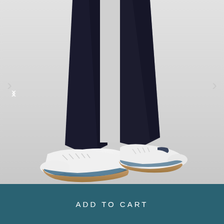[Figure (photo): Lower body of a person wearing dark navy/black slim trousers and white leather sneakers with gum/tan rubber soles and blue accents, photographed against a light grey background. Navigation arrows (< and >) are visible on the left and right sides of the image.]
ADD TO CART